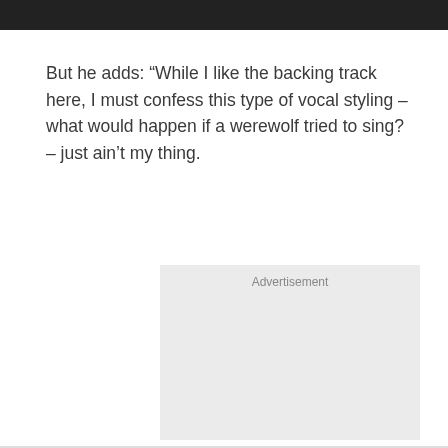[Figure (other): Black header bar at top of page]
But he adds: “While I like the backing track here, I must confess this type of vocal styling – what would happen if a werewolf tried to sing? – just ain’t my thing.
Advertisement